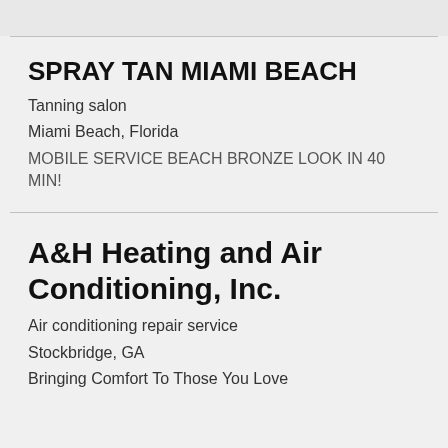SPRAY TAN MIAMI BEACH
Tanning salon
Miami Beach, Florida
MOBILE SERVICE BEACH BRONZE LOOK IN 40 MIN!
A&H Heating and Air Conditioning, Inc.
Air conditioning repair service
Stockbridge, GA
Bringing Comfort To Those You Love